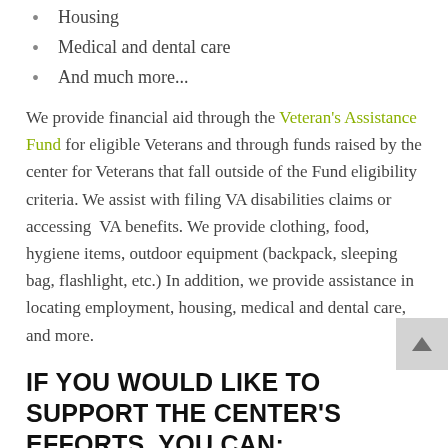Housing
Medical and dental care
And much more...
We provide financial aid through the Veteran's Assistance Fund for eligible Veterans and through funds raised by the center for Veterans that fall outside of the Fund eligibility criteria. We assist with filing VA disabilities claims or accessing VA benefits. We provide clothing, food, hygiene items, outdoor equipment (backpack, sleeping bag, flashlight, etc.) In addition, we provide assistance in locating employment, housing, medical and dental care, and more.
IF YOU WOULD LIKE TO SUPPORT THE CENTER'S EFFORTS, YOU CAN:
Donate: The center needs community support,